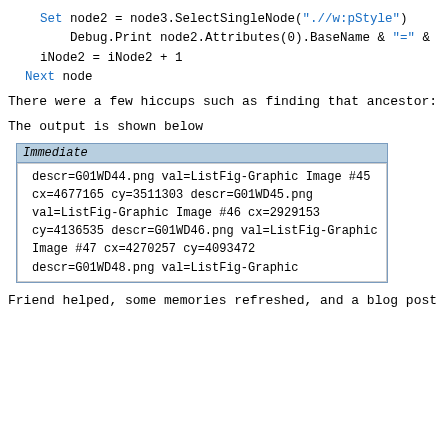Set node2 = node3.SelectSingleNode(".//w:pStyle")
        Debug.Print node2.Attributes(0).BaseName & "=" &
    iNode2 = iNode2 + 1
  Next node
There were a few hiccups such as finding that ancestor:
The output is shown below
[Figure (screenshot): Immediate window output showing debugger output with values: descr=G01WD44.png, val=ListFig-Graphic, Image #45, cx=4677165, cy=3511303, descr=G01WD45.png, val=ListFig-Graphic, Image #46, cx=2929153, cy=4136535, descr=G01WD46.png, val=ListFig-Graphic, Image #47, cx=4270257, cy=4093472, descr=G01WD48.png, val=ListFig-Graphic]
Friend helped, some memories refreshed, and a blog post